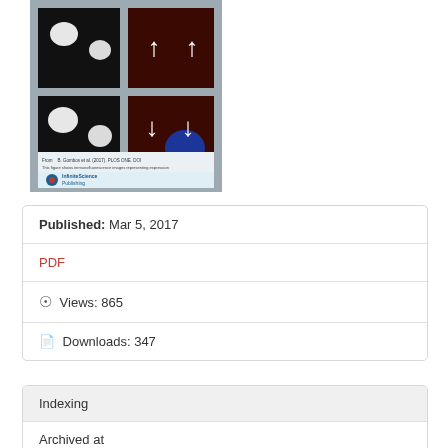[Figure (photo): Microscopy image thumbnail showing fluorescence images in a 2x2 grid: top-left black with white blobs, top-right red/dark with white arrow outlines pointing up, bottom-left black with white blobs, bottom-right red/dark with blue spot and white arrow outlines pointing down. InfiniteScience Publishing logo at bottom.]
Published: Mar 5, 2017
PDF
Views: 865
Downloads: 347
Indexing
Archived at
German National Library
Indexed at